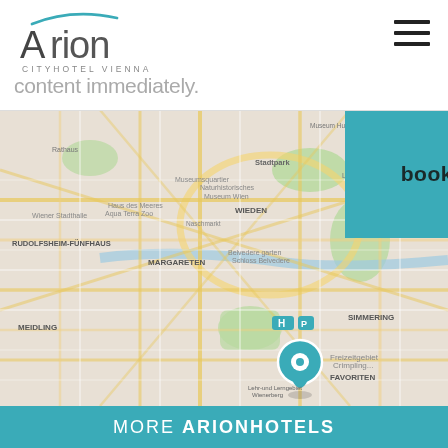[Figure (logo): Arion Cityhotel Vienna logo - stylized text with teal accent line]
content immediately.
[Figure (screenshot): Book now teal button overlay]
[Figure (map): Google Maps screenshot showing Vienna city center with hotel location marker (teal pin with circular icon) in Meidling area, showing districts including LANDSTRASSE, WIEDEN, MARGARETEN, RUDOLFSHEIM-FUNFHAUS, FAVORITEN, SIMMERING, and landmarks like Naturhistorisches Museum Wien, Stadtpark, Schloss Belvedere]
MORE ARIONHOTELS